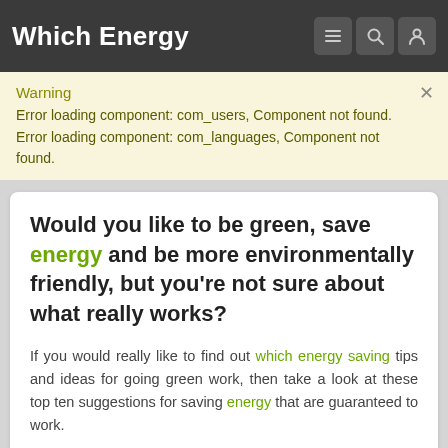Which Energy
Warning
Error loading component: com_users, Component not found.
Error loading component: com_languages, Component not found.
Would you like to be green, save energy and be more environmentally friendly, but you're not sure about what really works?
If you would really like to find out which energy saving tips and ideas for going green work, then take a look at these top ten suggestions for saving energy that are guaranteed to work.
1. HOME LIGHTING
To get the most from your lighting:
a. Replace all incandescent light bulbs with energy efficient CFLs ( Compact Fluorescent Lights.)